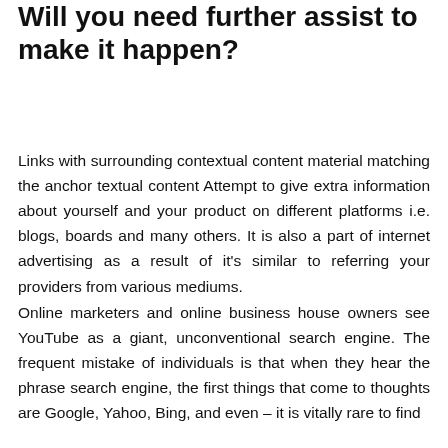Will you need further assist to make it happen?
Links with surrounding contextual content material matching the anchor textual content Attempt to give extra information about yourself and your product on different platforms i.e. blogs, boards and many others. It is also a part of internet advertising as a result of it's similar to referring your providers from various mediums.
Online marketers and online business house owners see YouTube as a giant, unconventional search engine. The frequent mistake of individuals is that when they hear the phrase search engine, the first things that come to thoughts are Google, Yahoo, Bing, and even – it is vitally rare to find